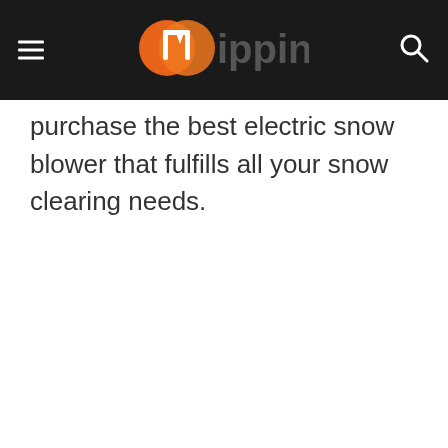mippin
purchase the best electric snow blower that fulfills all your snow clearing needs.